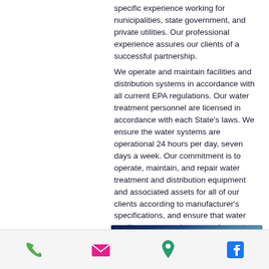specific experience working for nunicipalities, state government, and private utilities. Our professional experience assures our clients of a successful partnership.
We operate and maintain facilities and distribution systems in accordance with all current EPA regulations. Our water treatment personnel are licensed in accordance with each State's laws. We ensure the water systems are operational 24 hours per day, seven days a week. Our commitment is to operate, maintain, and repair water treatment and distribution equipment and associated assets for all of our clients according to manufacturer's specifications, and ensure that water quality meets regulatory requirements.
[Figure (photo): A dark blue image bar, possibly a partial photo of water or sky]
Phone, Email, Location, Facebook icons